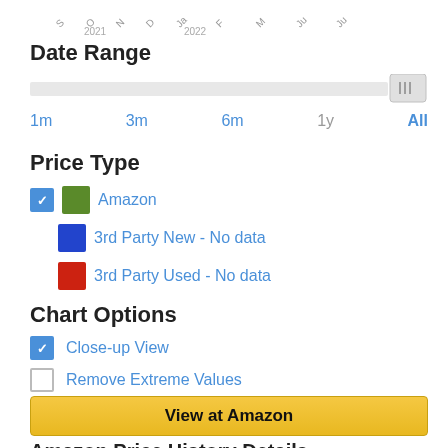[Figure (other): Partial chart axis labels showing 2021 and 2022 year markers with rotated month labels]
Date Range
[Figure (other): Horizontal slider control for date range selection, with thumb at far right]
1m   3m   6m   1y   All
Price Type
Amazon (checked, green swatch)
3rd Party New - No data (blue swatch)
3rd Party Used - No data (red swatch)
Chart Options
Close-up View (checked)
Remove Extreme Values (unchecked)
View at Amazon
Amazon Price History Details